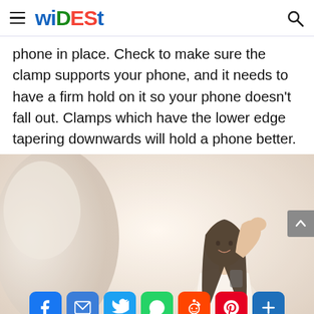WIDEST
phone in place. Check to make sure the clamp supports your phone, and it needs to have a firm hold on it so your phone doesn't fall out. Clamps which have the lower edge tapering downwards will hold a phone better.
[Figure (photo): A young Asian woman in a white lace dress, posing with one hand raised behind her head, smiling, against a soft light background with a white statue or sculpture partially visible on the left.]
[Figure (infographic): Social media share bar with icons: Facebook, Email, Twitter, WhatsApp, Reddit, Pinterest, and a More (+) button]